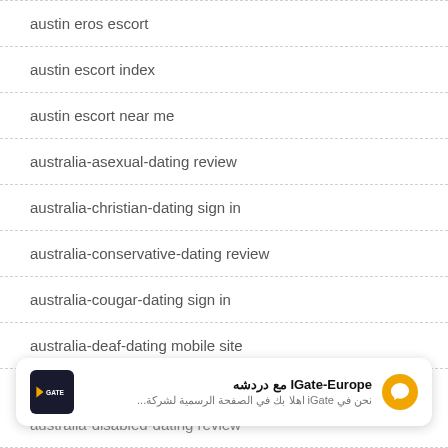austin eros escort
austin escort index
austin escort near me
australia-asexual-dating review
australia-christian-dating sign in
australia-conservative-dating review
australia-cougar-dating sign in
australia-deaf-dating mobile site
australia-disabled-dating review